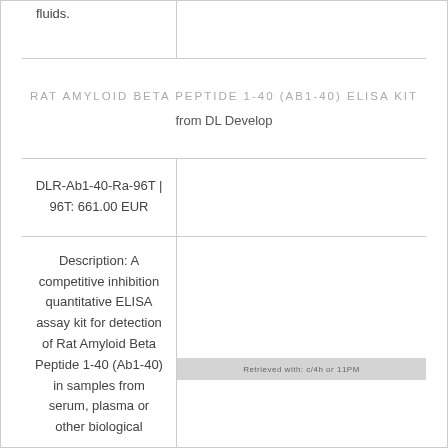fluids.
RAT AMYLOID BETA PEPTIDE 1-40 (AB1-40) ELISA KIT
from DL Develop
DLR-Ab1-40-Ra-96T | 96T: 661.00 EUR
Description: A competitive inhibition quantitative ELISA assay kit for detection of Rat Amyloid Beta Peptide 1-40 (Ab1-40) in samples from serum, plasma or other biological
Retrieved with: c/4h or 11PM